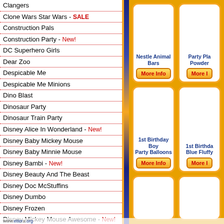Clangers
Clone Wars Star Wars - SALE
Construction Pals
Construction Party - New!
DC Superhero Girls
Dear Zoo
Despicable Me
Despicable Me Minions
Dino Blast
Dinosaur Party
Dinosaur Train Party
Disney Alice In Wonderland - New!
Disney Baby Mickey Mouse
Disney Baby Minnie Mouse
Disney Bambi - New!
Disney Beauty And The Beast
Disney Doc McStuffins
Disney Dumbo
Disney Frozen
Disney Mickey Mouse Awesome - New!
Disney Mickey Mouse Club House
Disney Mickey Mouse Party Time
Disney Minnie Mouse
Disney Minnie Mouse Daisies
Disney Minnie Mouse Gem
Disney Moana
Disney Planes
Disney Princess and Palace Pets
Disney Princess Dreaming
Disney Princess Glamour
[Figure (other): Product card: Nestle Animal Bars with More Info button]
[Figure (other): Product card: Party Plates Powder (partially visible) with More Info button]
[Figure (other): Product card: 1st Birthday Boy Party Balloons with More Info button]
[Figure (other): Product card: 1st Birthday Blue Fluffy (partially visible) with More Info button]
[Figure (other): Product card: partial/bottom row card 1]
[Figure (other): Product card: partial/bottom row card 2]